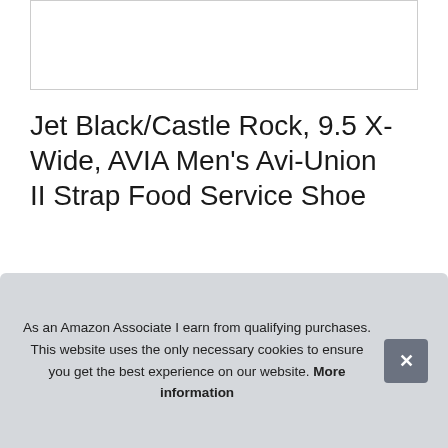[Figure (other): Empty white rectangle placeholder for product image at top]
Jet Black/Castle Rock, 9.5 X-Wide, AVIA Men's Avi-Union II Strap Food Service Shoe
#ad
[Figure (photo): Row of four product thumbnail images showing AVIA shoe from various angles]
Avia
As an Amazon Associate I earn from qualifying purchases. This website uses the only necessary cookies to ensure you get the best experience on our website. More information